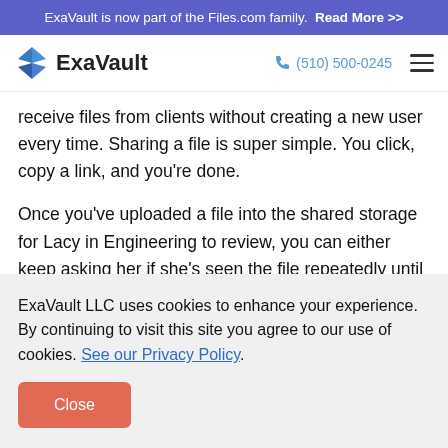ExaVault is now part of the Files.com family. Read More >>
[Figure (logo): ExaVault logo with chevron icon and navigation bar showing phone number (510) 500-0245 and hamburger menu]
receive files from clients without creating a new user every time. Sharing a file is super simple. You click, copy a link, and you're done.
Once you've uploaded a file into the shared storage for Lacy in Engineering to review, you can either keep asking her if she's seen the file repeatedly until she starts screening your calls or take advantage of modern cloud
ExaVault LLC uses cookies to enhance your experience. By continuing to visit this site you agree to our use of cookies. See our Privacy Policy.
Close